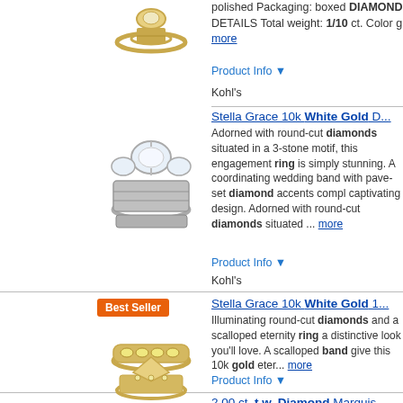[Figure (photo): Gold diamond ring product image]
polished Packaging: boxed DIAMOND DETAILS Total weight: 1/10 ct. Color g... more
Product Info ▼
Kohl's
Stella Grace 10k White Gold D...
[Figure (photo): White gold 3-stone diamond engagement ring set]
Adorned with round-cut diamonds situated in a 3-stone motif, this engagement ring is simply stunning. A coordinating wedding band with pave-set diamond accents completes the captivating design. Adorned with round-cut diamonds situated ... more
Product Info ▼
Kohl's
Best Seller
Stella Grace 10k White Gold 1...
[Figure (photo): Gold diamond eternity band ring]
Illuminating round-cut diamonds and a scalloped eternity ring a distinctive look you'll love. A scalloped band give this 10k gold eter... more
Product Info ▼
2.00 ct. t.w. Diamond Marquis...
Free Shipping For Plus Members
[Figure (photo): 14K yellow and white gold diamond marquise ring]
Crafted in 14K yellow and white gold, this piece of wedding jewelry. ... more